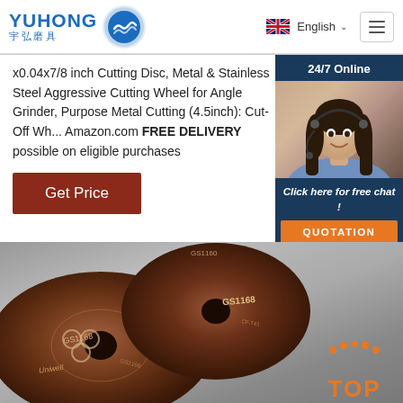YUHONG 宇弘磨具 — English
x0.04x7/8 inch Cutting Disc, Metal & Stainless Steel Aggressive Cutting Wheel for Angle Grinder, Purpose Metal Cutting (4.5inch): Cut-Off Wh... Amazon.com FREE DELIVERY possible on eligible purchases
Get Price
[Figure (photo): Customer service representative (woman with headset) with 24/7 Online chat panel overlay and QUOTATION button]
[Figure (photo): Two brown/rust-colored abrasive cutting discs labeled GS1168, partially overlapping, photographed from above on a grey surface. Orange TOP badge in bottom right.]